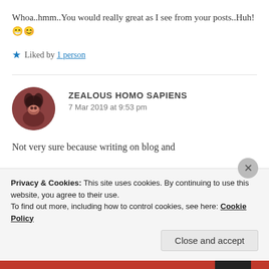Whoa..hmm..You would really great as I see from your posts..Huh! 😁😊
★ Liked by 1 person
ZEALOUS HOMO SAPIENS
7 Mar 2019 at 9:53 pm
Not very sure because writing on blog and
Privacy & Cookies: This site uses cookies. By continuing to use this website, you agree to their use.
To find out more, including how to control cookies, see here: Cookie Policy
Close and accept